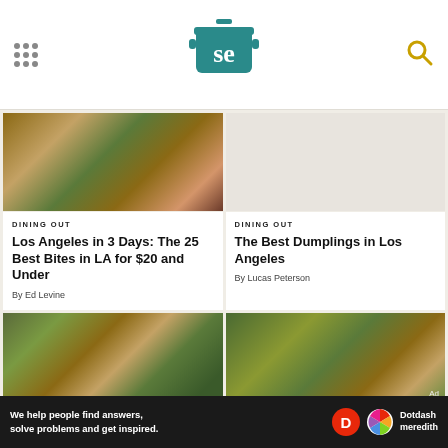Serious Eats - SE logo
[Figure (photo): Food photo: grilled meats and salad dishes on a table]
DINING OUT
Los Angeles in 3 Days: The 25 Best Bites in LA for $20 and Under
By Ed Levine
[Figure (photo): Light gray placeholder image]
DINING OUT
The Best Dumplings in Los Angeles
By Lucas Peterson
[Figure (photo): Food photo: Asian hot pot dishes with greens and soups]
[Figure (photo): Food photo: plate with greens, lentils and rice]
Ad
We help people find answers, solve problems and get inspired. Dotdash meredith